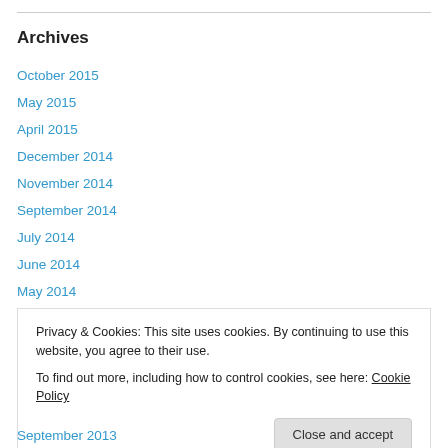Archives
October 2015
May 2015
April 2015
December 2014
November 2014
September 2014
July 2014
June 2014
May 2014
April 2014
Privacy & Cookies: This site uses cookies. By continuing to use this website, you agree to their use.
To find out more, including how to control cookies, see here: Cookie Policy
Close and accept
September 2013